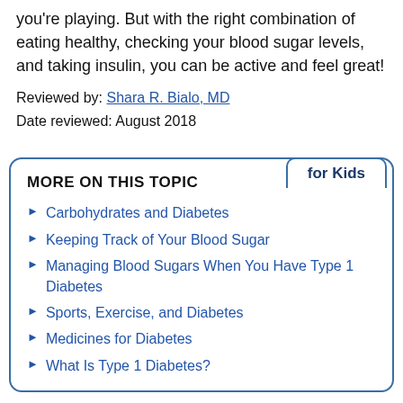you're playing. But with the right combination of eating healthy, checking your blood sugar levels, and taking insulin, you can be active and feel great!
Reviewed by: Shara R. Bialo, MD
Date reviewed: August 2018
MORE ON THIS TOPIC
Carbohydrates and Diabetes
Keeping Track of Your Blood Sugar
Managing Blood Sugars When You Have Type 1 Diabetes
Sports, Exercise, and Diabetes
Medicines for Diabetes
What Is Type 1 Diabetes?